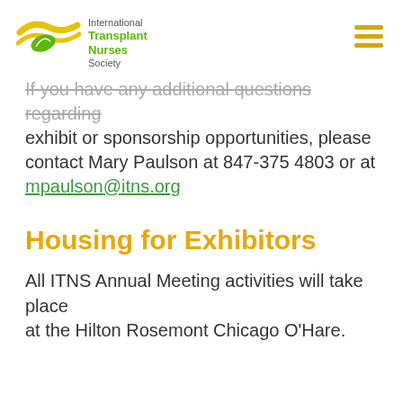International Transplant Nurses Society
If you have any additional questions regarding exhibit or sponsorship opportunities, please contact Mary Paulson at 847-375 4803 or at mpaulson@itns.org
Housing for Exhibitors
All ITNS Annual Meeting activities will take place at the Hilton Rosemont Chicago O'Hare.